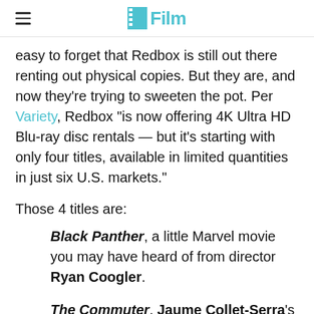/Film
easy to forget that Redbox is still out there renting out physical copies. But they are, and now they're trying to sweeten the pot. Per Variety, Redbox "is now offering 4K Ultra HD Blu-ray disc rentals — but it's starting with only four titles, available in limited quantities in just six U.S. markets."
Those 4 titles are:
Black Panther, a little Marvel movie you may have heard of from director Ryan Coogler.
The Commuter, Jaume Collet-Serra's latest "Liam Neeson kicks some ass" film.
The Martian, a Ridley Scott movie about Matt